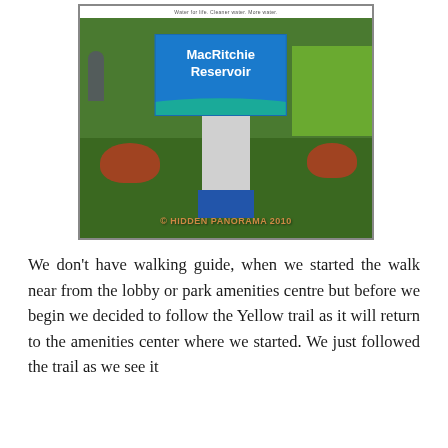[Figure (photo): Photograph of the MacRitchie Reservoir sign — a tall pole with a large blue and teal sign board reading 'MacRitchie Reservoir', surrounded by lush green trees and red flowering shrubs. A watermark reads '© HIDDEN PANORAMA 2010'.]
We don't have walking guide, when we started the walk near from the lobby or park amenities centre but before we begin we decided to follow the Yellow trail as it will return to the amenities center where we started. We just followed the trail as we see it